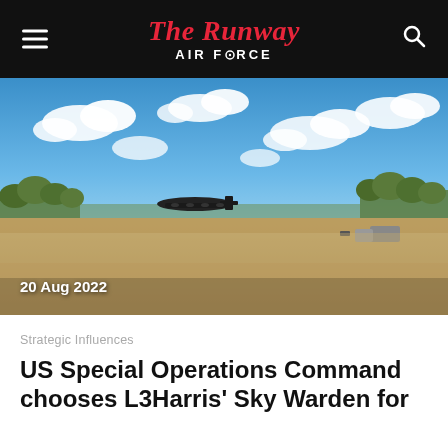The Runway AIR FORCE
[Figure (photo): Military transport aircraft (C-130 Hercules) on a dirt/gravel airstrip with blue sky and white clouds above, trees and vehicles in background. Date overlay reads '20 Aug 2022'.]
20 Aug 2022
Strategic Influences
US Special Operations Command chooses L3Harris' Sky Warden for